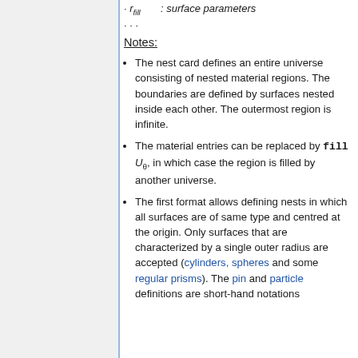· · · : surface parameters
· · ·
Notes:
The nest card defines an entire universe consisting of nested material regions. The boundaries are defined by surfaces nested inside each other. The outermost region is infinite.
The material entries can be replaced by fill U_θ, in which case the region is filled by another universe.
The first format allows defining nests in which all surfaces are of same type and centred at the origin. Only surfaces that are characterized by a single outer radius are accepted (cylinders, spheres and some regular prisms). The pin and particle definitions are short-hand notations